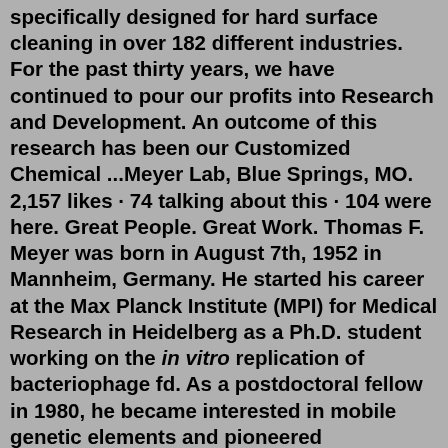specifically designed for hard surface cleaning in over 182 different industries. For the past thirty years, we have continued to pour our profits into Research and Development. An outcome of this research has been our Customized Chemical ...Meyer Lab, Blue Springs, MO. 2,157 likes · 74 talking about this · 104 were here. Great People. Great Work. Thomas F. Meyer was born in August 7th, 1952 in Mannheim, Germany. He started his career at the Max Planck Institute (MPI) for Medical Research in Heidelberg as a Ph.D. student working on the in vitro replication of bacteriophage fd. As a postdoctoral fellow in 1980, he became interested in mobile genetic elements and pioneered investigations ... See more of Meyer Lab on Facebook. Log In. or Meyer Industrial offers a wide range of products that are ideal for dry chemical bulk processing. Our rotary airlock feeders for chemical bulk material processing equipment are highly reliable to help eliminate downtime. The unique design of our sanitary airlock feeders helps eliminate adulteration while making cleaning and sanitizing